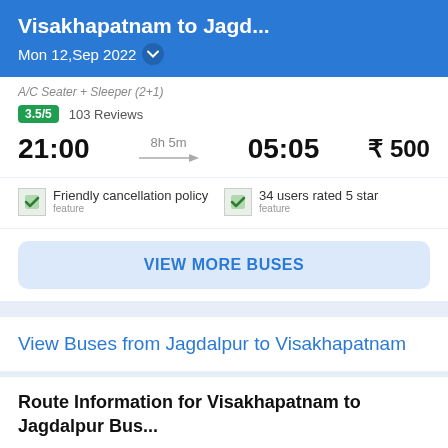Visakhapatnam to Jagd... Mon 12,Sep 2022
A/C Seater + Sleeper (2+1)
3.5/5  103 Reviews
21:00  8h 5m  05:05  ₹ 500
Friendly cancellation policy   34 users rated 5 star
VIEW MORE BUSES
View Buses from Jagdalpur to Visakhapatnam
Route Information for Visakhapatnam to Jagdalpur Bus...